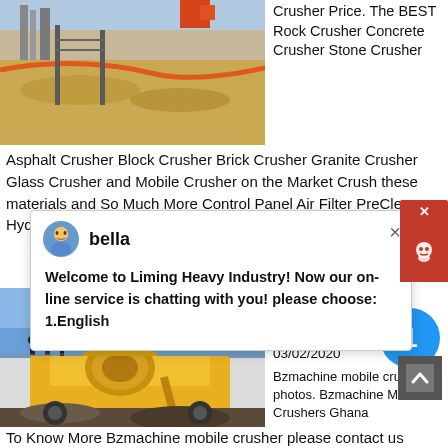[Figure (photo): Photo of an industrial site with gravel/aggregate material on the ground, pipes visible, and equipment in the background.]
Crusher Price. The BEST Rock Crusher Concrete Crusher Stone Crusher Asphalt Crusher Block Crusher Brick Crusher Granite Crusher Glass Crusher and Mobile Crusher on the Market Crush these materials and So Much More Control Panel Air Filter PreClean Hydraulic Cooler Magnet Low. Send Email: [email protected]
bella
Welcome to Liming Heavy Industry! Now our on-line service is chatting with you! please choose: 1.English
[Figure (photo): Photo of a large yellow mobile crusher machine on a rocky/gravel site with people standing on it and blue sky in the background.]
Mobile Crusher Price
03/02/2020
Bzmachine mobile crushers photos. Bzmachine Mobile Crushers Ghana
To Know More Bzmachine mobile crusher please contact us